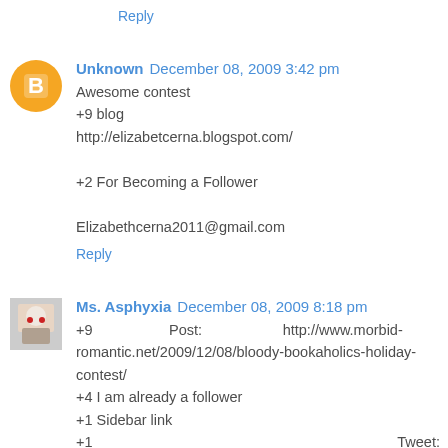Reply
Unknown  December 08, 2009 3:42 pm
Awesome contest
+9 blog
http://elizabetcerna.blogspot.com/

+2 For Becoming a Follower

Elizabethcerna2011@gmail.com
Reply
Ms. Asphyxia  December 08, 2009 8:18 pm
+9                Post:               http://www.morbid-romantic.net/2009/12/08/bloody-bookaholics-holiday-contest/
+4 I am already a follower
+1 Sidebar link
+1                                                          Tweet: